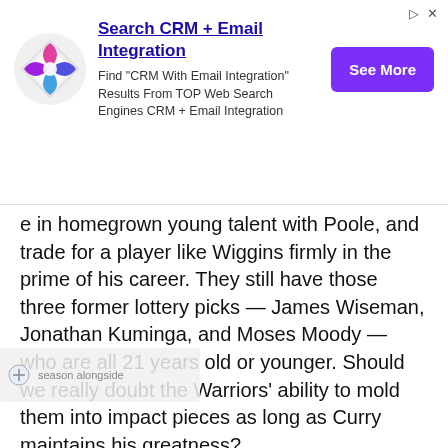[Figure (infographic): Advertisement banner for CRM + Email Integration service. Shows a colorful diamond logo, headline 'Search CRM + Email Integration', descriptive text, and a purple 'See More' button.]
e in homegrown young talent with Poole, and trade for a player like Wiggins firmly in the prime of his career. They still have those three former lottery picks — James Wiseman, Jonathan Kuminga, and Moses Moody — who are all 21 years old or younger. Should we really doubt the Warriors' ability to mold them into impact pieces as long as Curry maintains his greatness?
The Warriors dynasty was on the brink of demise. To win this title after losing Durant, and after going through so much other adversity, really is remarkable. Golden State run isn't finished yet: they will be among the favorites next season alongside the Milwaukee Bucks. The team that once defined the terms of the modern game and